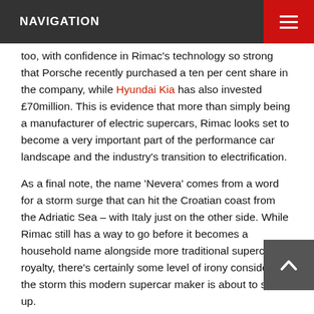NAVIGATION
too, with confidence in Rimac's technology so strong that Porsche recently purchased a ten per cent share in the company, while Hyundai Kia has also invested £70million. This is evidence that more than simply being a manufacturer of electric supercars, Rimac looks set to become a very important part of the performance car landscape and the industry's transition to electrification.
As a final note, the name 'Nevera' comes from a word for a storm surge that can hit the Croatian coast from the Adriatic Sea – with Italy just on the other side. While Rimac still has a way to go before it becomes a household name alongside more traditional supercar royalty, there's certainly some level of irony considering the storm this modern supercar maker is about to stir up.
> Tesla Model S Plaid deliveries begin – 1006bhp super saloon now reaching customers